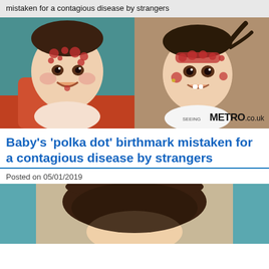mistaken for a contagious disease by strangers
[Figure (photo): Two side-by-side photos of a baby/toddler with red polka dot birthmarks on their face. Left photo shows a younger smiling baby with teal background. Right photo shows a slightly older toddler smiling lying down on a brown surface. Metro.co.uk watermark in bottom right.]
Baby's 'polka dot' birthmark mistaken for a contagious disease by strangers
Posted on 05/01/2019
[Figure (photo): Partial photo of a baby/child, showing top of head and partial face, teal background on sides.]